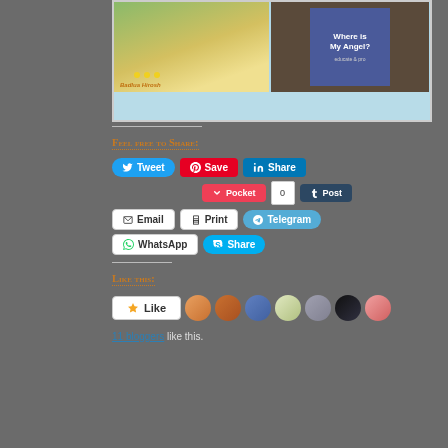[Figure (photo): Two book photos side by side: left shows a children's book by Badlua Hirosh with sunflower illustration, right shows a book titled 'Where is My Angel?' on a wooden surface. Below is a light blue area.]
Feel free to Share:
Tweet | Save | Share | Pocket | 0 | Post | Email | Print | Telegram | WhatsApp | Share
Like this:
Like
11 bloggers like this.